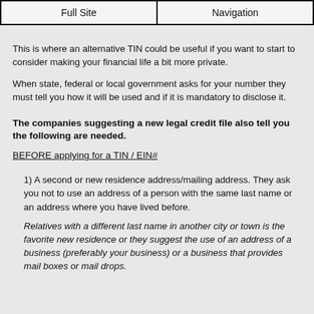Full Site | Navigation
This is where an alternative TIN could be useful if you want to start to consider making your financial life a bit more private.
When state, federal or local government asks for your number they must tell you how it will be used and if it is mandatory to disclose it.
The companies suggesting a new legal credit file also tell you the following are needed.
BEFORE applying for a TIN / EIN#
1) A second or new residence address/mailing address. They ask you not to use an address of a person with the same last name or an address where you have lived before.
Relatives with a different last name in another city or town is the favorite new residence or they suggest the use of an address of a business (preferably your business) or a business that provides mail boxes or mail drops.